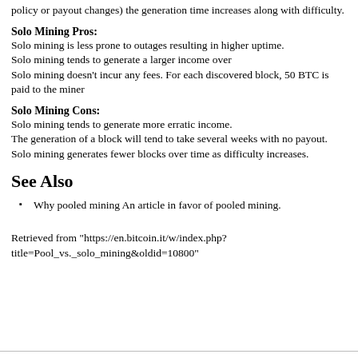policy or payout changes) the generation time increases along with difficulty.
Solo Mining Pros:
Solo mining is less prone to outages resulting in higher uptime.
Solo mining tends to generate a larger income over
Solo mining doesn't incur any fees. For each discovered block, 50 BTC is paid to the miner
Solo Mining Cons:
Solo mining tends to generate more erratic income.
The generation of a block will tend to take several weeks with no payout.
Solo mining generates fewer blocks over time as difficulty increases.
See Also
Why pooled mining An article in favor of pooled mining.
Retrieved from "https://en.bitcoin.it/w/index.php?title=Pool_vs._solo_mining&oldid=10800"